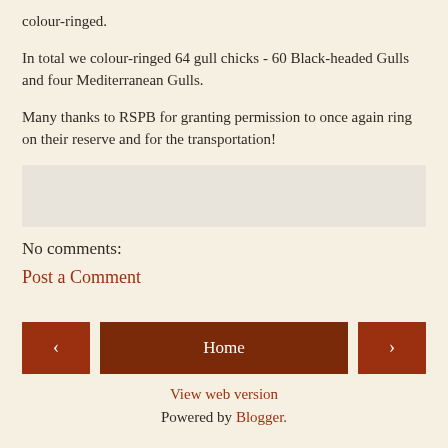colour-ringed.
In total we colour-ringed 64 gull chicks - 60 Black-headed Gulls and four Mediterranean Gulls.
Many thanks to RSPB for granting permission to once again ring on their reserve and for the transportation!
[Figure (other): Grey/light coloured empty box area]
No comments:
Post a Comment
< | Home | > | View web version | Powered by Blogger.